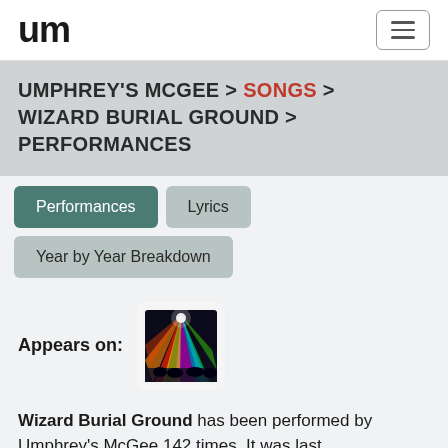um (Umphrey's McGee logo) [hamburger menu]
UMPHREY'S MCGEE > SONGS > WIZARD BURIAL GROUND > PERFORMANCES
Performances
Lyrics
Year by Year Breakdown
Appears on:
[Figure (photo): Album artwork thumbnail showing colorful concert lights]
Wizard Burial Ground has been performed by Umphrey's McGee 142 times. It was last